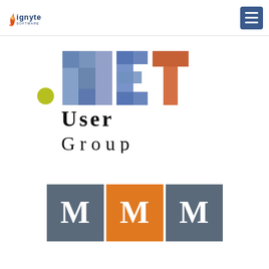ignyte SOFTWARE | hamburger menu
[Figure (logo): .NET User Group logo — colorful NET letters with 'User Group' text in black serif font]
[Figure (logo): MMM logo — three M letters in square boxes: grey, orange, grey]